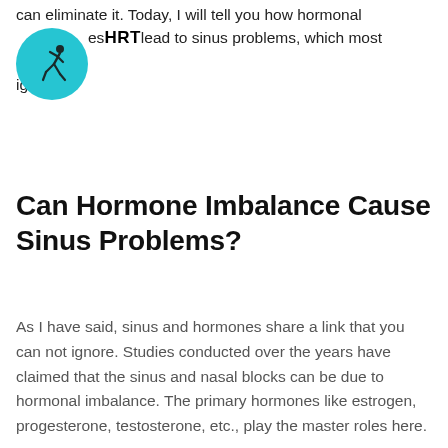can eliminate it. Today, I will tell you how hormonal imbalances lead to sinus problems, which most people ignore.
[Figure (logo): Circular teal logo with a running person silhouette and the text HRT overlaid]
Can Hormone Imbalance Cause Sinus Problems?
As I have said, sinus and hormones share a link that you can not ignore. Studies conducted over the years have claimed that the sinus and nasal blocks can be due to hormonal imbalance. The primary hormones like estrogen, progesterone, testosterone, etc., play the master roles here.